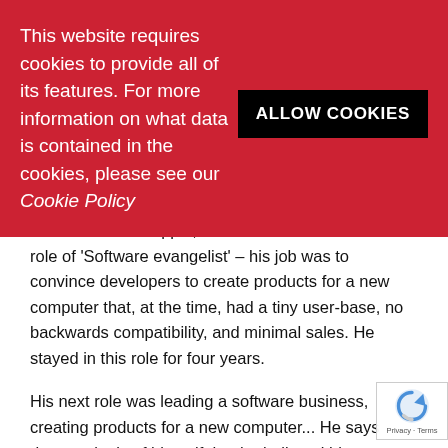This website requires cookies to provide all of its features. For more information on what data is contained in the cookies, please see our Cookie Policy
ALLOW COOKIES
move instead to Apple, in 1983. There he took the role of 'Software evangelist' – his job was to convince developers to create products for a new computer that, at the time, had a tiny user-base, no backwards compatibility, and minimal sales. He stayed in this role for four years.
His next role was leading a software business, creating products for a new computer... He says deprecatingly of himself that he believed his own hype, but for a while, the database software that Acius created was among the best for the Apple system. A spell of journalism followed (in the Mac arena) and then he collaborated to set up another software company. But in 1995, Kawasaki